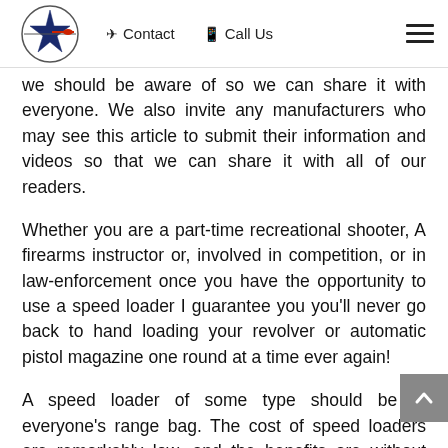Contact | Call Us
we should be aware of so we can share it with everyone. We also invite any manufacturers who may see this article to submit their information and videos so that we can share it with all of our readers.
Whether you are a part-time recreational shooter, A firearms instructor or, involved in competition, or in law-enforcement once you have the opportunity to use a speed loader I guarantee you you'll never go back to hand loading your revolver or automatic pistol magazine one round at a time ever again!
A speed loader of some type should be in everyone's range bag. The cost of speed loaders are remarkably low, and the benefits are without question very high. If you have experience with a speed loader please e us so that we can share your experiences with all our